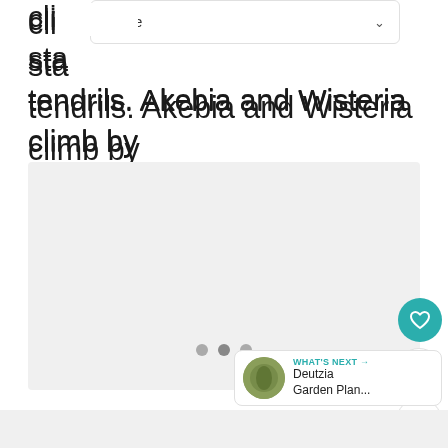Home
climb by staying attached by grabbing tendrils. Akebia and Wisteria climb by twining stems in a spiral fashion around its support.
[Figure (photo): Slide/image carousel area showing a plant or garden image (placeholder grey area with three dot indicators)]
1
WHAT'S NEXT → Deutzia Garden Plan...